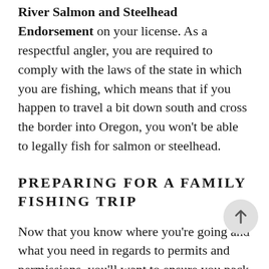River Salmon and Steelhead Endorsement on your license. As a respectful angler, you are required to comply with the laws of the state in which you are fishing, which means that if you happen to travel a bit down south and cross the border into Oregon, you won't be able to legally fish for salmon or steelhead.
PREPARING FOR A FAMILY FISHING TRIP
Now that you know where you're going and what you need in regards to permits and permissions, you'll want to ensure you pack everything you need for a fishing trip in the Columbia River Basin. Be prepared for any type of